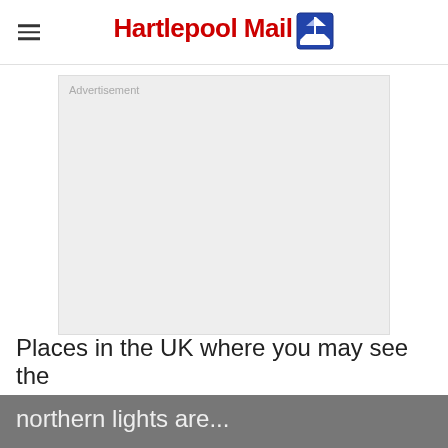Hartlepool Mail
[Figure (other): Advertisement placeholder box with light grey background and 'Advertisement' label in top-left corner]
Places in the UK where you may see the northern lights are...